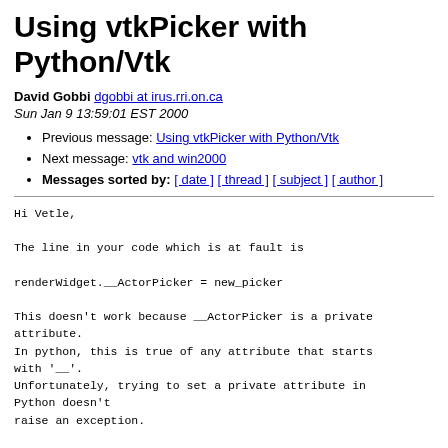Using vtkPicker with Python/Vtk
David Gobbi dgobbi at irus.rri.on.ca
Sun Jan 9 13:59:01 EST 2000
Previous message: Using vtkPicker with Python/Vtk
Next message: vtk and win2000
Messages sorted by: [ date ] [ thread ] [ subject ] [ author ]
Hi Vetle,

The line in your code which is at fault is

renderWidget.__ActorPicker = new_picker

This doesn't work because __ActorPicker is a private attribute.
In python, this is true of any attribute that starts with '__'.
Unfortunately, trying to set a private attribute in Python doesn't
raise an exception.